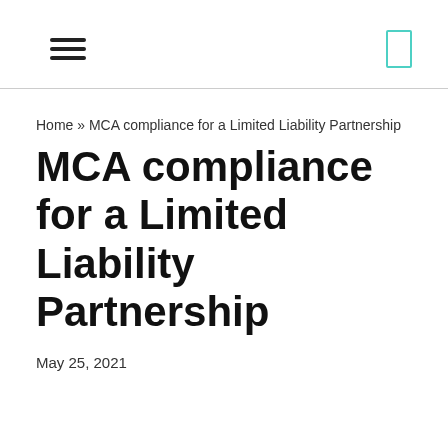☰ [hamburger menu icon] | [box icon]
Home » MCA compliance for a Limited Liability Partnership
MCA compliance for a Limited Liability Partnership
May 25, 2021